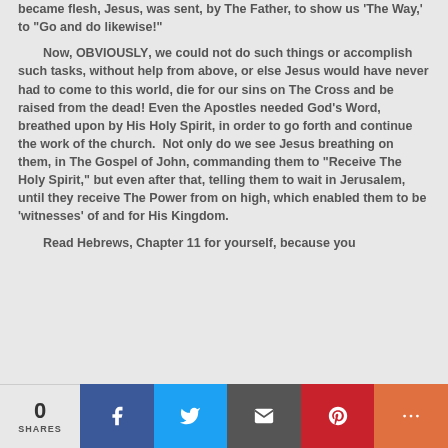became flesh, Jesus, was sent, by The Father, to show us 'The Way,' to "Go and do likewise!"

Now, OBVIOUSLY, we could not do such things or accomplish such tasks, without help from above, or else Jesus would have never had to come to this world, die for our sins on The Cross and be raised from the dead! Even the Apostles needed God's Word, breathed upon by His Holy Spirit, in order to go forth and continue the work of the church.  Not only do we see Jesus breathing on them, in The Gospel of John, commanding them to "Receive The Holy Spirit," but even after that, telling them to wait in Jerusalem, until they receive The Power from on high, which enabled them to be 'witnesses' of and for His Kingdom.

Read Hebrews, Chapter 11 for yourself, because you
0 SHARES | Facebook | Twitter | Email | Pinterest | More